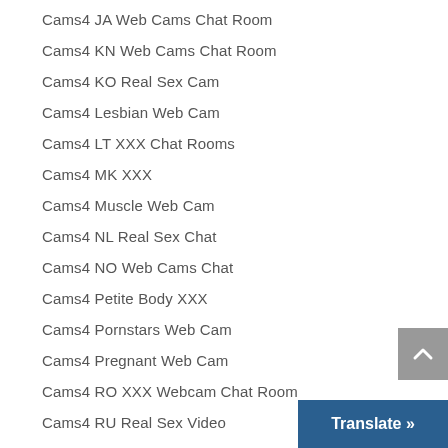Cams4 JA Web Cams Chat Room
Cams4 KN Web Cams Chat Room
Cams4 KO Real Sex Cam
Cams4 Lesbian Web Cam
Cams4 LT XXX Chat Rooms
Cams4 MK XXX
Cams4 Muscle Web Cam
Cams4 NL Real Sex Chat
Cams4 NO Web Cams Chat
Cams4 Petite Body XXX
Cams4 Pornstars Web Cam
Cams4 Pregnant Web Cam
Cams4 RO XXX Webcam Chat Room
Cams4 RU Real Sex Video
Cams4 SK XXX Web Cams Chat